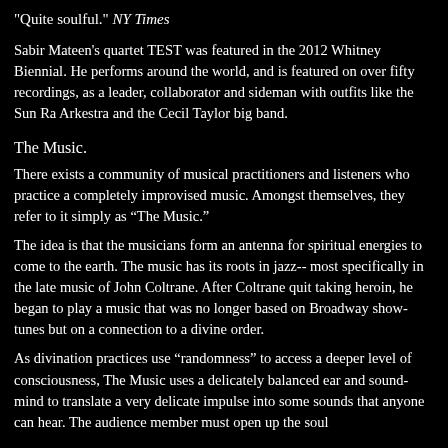"Quite soulful." NY Times
Sabir Mateen's quartet TEST was featured in the 2012 Whitney Biennial. He performs around the world, and is featured on over fifty recordings, as a leader, collaborator and sideman with outfits like the Sun Ra Arkestra and the Cecil Taylor big band.
The Music.
There exists a community of musical practitioners and listeners who practice a completely improvised music. Amongst themselves, they refer to it simply as “The Music.”
The idea is that the musicians form an antenna for spiritual energies to come to the earth. The music has its roots in jazz-- most specifically in the late music of John Coltrane. After Coltrane quit taking heroin, he began to play a music that was no longer based on Broadway show-tunes but on a connection to a divine order.
As divination practices use “randomness” to access a deeper level of consciousness, The Music uses a delicately balanced ear and sound-mind to translate a very delicate impulse into some sounds that anyone can hear. The audience member must open up the soul